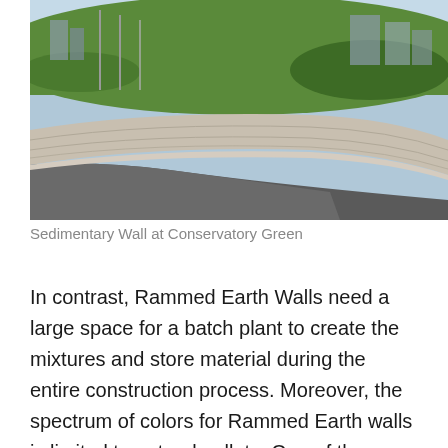[Figure (photo): Outdoor photo of a curved rammed earth or concrete retaining wall (sedimentary wall) with a grass-covered embankment on top. A paved pathway curves alongside the wall. Buildings and light poles are visible in the background under a blue sky.]
Sedimentary Wall at Conservatory Green
In contrast, Rammed Earth Walls need a large space for a batch plant to create the mixtures and store material during the entire construction process. Moreover, the spectrum of colors for Rammed Earth walls is limited to natural pallets. One of the biggest benefits of Rammed Earth besides its beauty is its eco-friendliness. All